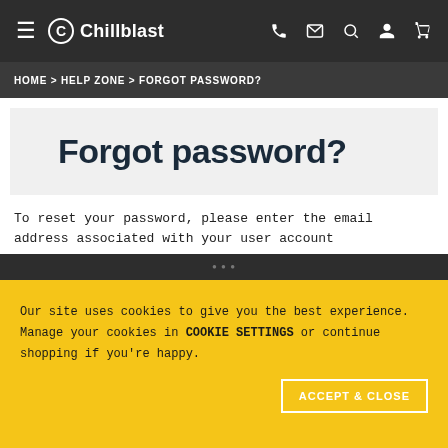≡  Chillblast  [phone] [email] [search] [account] [cart]
HOME > HELP ZONE > FORGOT PASSWORD?
Forgot password?
To reset your password, please enter the email address associated with your user account
The confirmation URL link will be emailed to you shortly
Email
Our site uses cookies to give you the best experience. Manage your cookies in COOKIE SETTINGS or continue shopping if you're happy.
ACCEPT & CLOSE